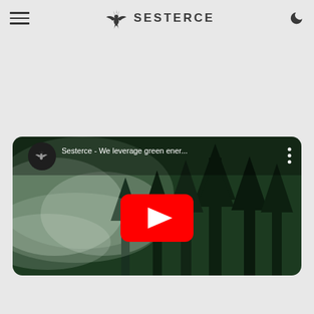Sesterce
[Figure (screenshot): YouTube video embed thumbnail showing a forest with mist. Video title: 'Sesterce - We leverage green ener...' with channel icon and play button.]